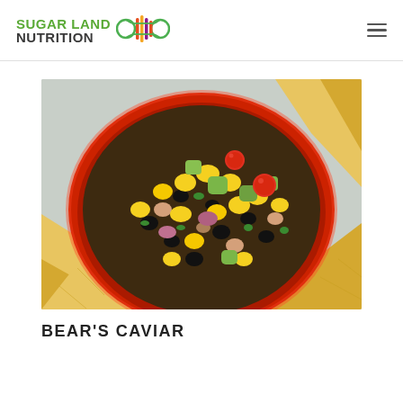SUGAR LAND NUTRITION
[Figure (photo): Overhead view of a red bowl filled with cowboy caviar / bear's caviar — black beans, pinto beans, corn, avocado, cherry tomatoes, red onion, and cilantro — surrounded by tortilla chips on a light surface.]
BEAR'S CAVIAR